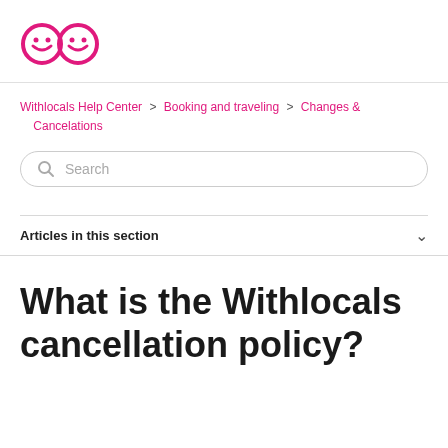[Figure (logo): Withlocals logo: two smiley face circles in pink/magenta outline]
Withlocals Help Center > Booking and traveling > Changes & Cancelations
Search
Articles in this section
What is the Withlocals cancellation policy?